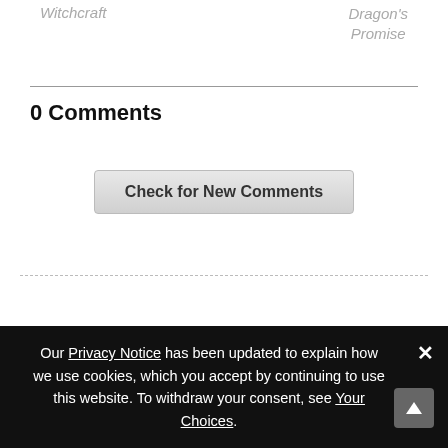Witchcraft
Dragon's Promise
0 Comments
Check for New Comments
Subscribe to this thread
Post a Comment
Our Privacy Notice has been updated to explain how we use cookies, which you accept by continuing to use this website. To withdraw your consent, see Your Choices.